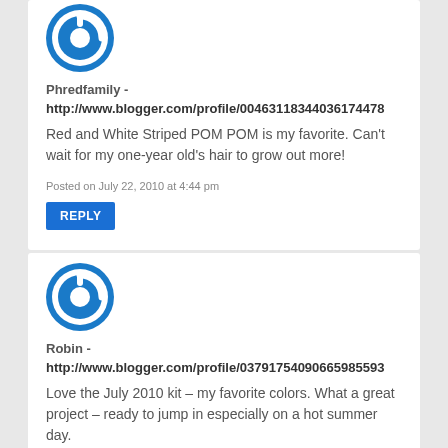[Figure (logo): Blue circular avatar icon with power/user symbol (Blogger default avatar) for Phredfamily]
Phredfamily -
http://www.blogger.com/profile/00463118344036174478
Red and White Striped POM POM is my favorite. Can't wait for my one-year old's hair to grow out more!
Posted on July 22, 2010 at 4:44 pm
REPLY
[Figure (logo): Blue circular avatar icon with power/user symbol (Blogger default avatar) for Robin]
Robin -
http://www.blogger.com/profile/03791754090665985593
Love the July 2010 kit – my favorite colors. What a great project – ready to jump in especially on a hot summer day.